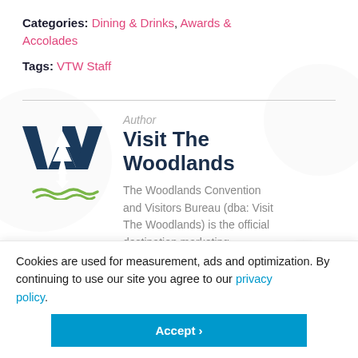Categories: Dining & Drinks, Awards & Accolades
Tags: VTW Staff
[Figure (logo): Visit The Woodlands logo — large dark blue W letterform with a white pine tree and downward arrow inside, green wavy lines beneath representing water]
Author
Visit The Woodlands
The Woodlands Convention and Visitors Bureau (dba: Visit The Woodlands) is the official destination marketing
Cookies are used for measurement, ads and optimization. By continuing to use our site you agree to our privacy policy.